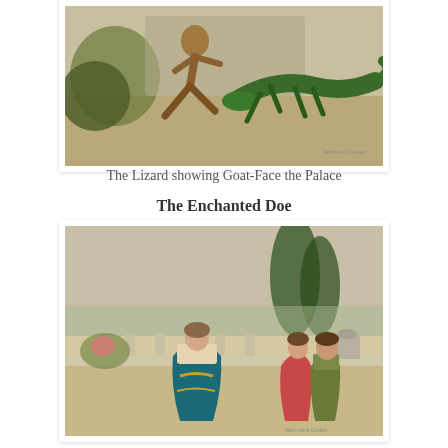[Figure (illustration): A painted illustration showing a large green lizard facing a figure (Goat-Face) on a rocky, sandy ground with foliage in the background. Vintage storybook art style with watercolor tones.]
The Lizard showing Goat-Face the Palace
The Enchanted Doe
[Figure (illustration): A painted illustration showing a woman in a long teal/blue dress with ornate trim standing on a terrace or courtyard, with two other figures (a man and a woman in period costume) visible in the background near a balustrade with trees and landscape beyond. Vintage storybook art style.]